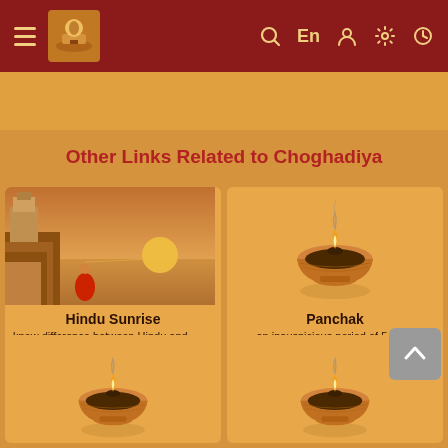Navigation bar with hamburger menu, logo, search, En, user, settings, clock icons
Other Links Related to Choghadiya
[Figure (illustration): Card showing Hindu Sunrise - illustration of a person in red sari at river ghats with sunset in background]
Hindu Sunrise
know difference between Hindu and astronomical sunrise
[Figure (illustration): Card showing Panchak - illustration of a diya (oil lamp) with smoke]
Panchak
an inauspicious period of 5 days
[Figure (illustration): Bottom left card with diya illustration]
[Figure (illustration): Bottom right card with diya illustration]